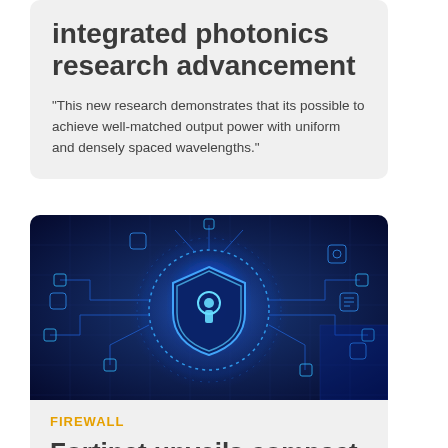integrated photonics research advancement
"This new research demonstrates that its possible to achieve well-matched output power with uniform and densely spaced wavelengths."
[Figure (photo): Dark blue digital cybersecurity illustration showing a glowing shield with a keyhole icon at center, surrounded by circuit board lines and connected technology icons representing network security concepts.]
FIREWALL
Fortinet unveils compact firewall